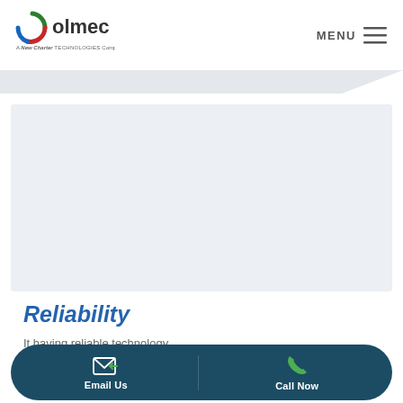[Figure (logo): Olmec logo — circular icon with green/red/blue swooshes, text 'olmec', tagline 'A New Charter Technologies Company']
[Figure (other): Navigation menu icon — text 'MENU' with hamburger lines icon]
[Figure (other): Gray diagonal decorative band below header]
[Figure (other): Large light blue/gray empty content area]
Reliability
It having reliable technology. Things happen, and when
[Figure (other): Dark teal rounded pill CTA bar with Email Us (envelope icon) and Call Now (phone icon) buttons]